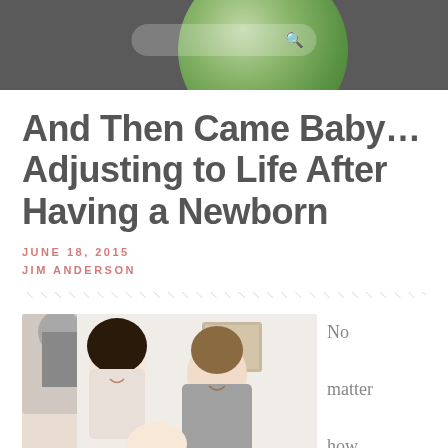[Figure (screenshot): Website header bar with dark gray background, a green decorative circle/globe, and a search bar with magnifying glass icon]
And Then Came Baby… Adjusting to Life After Having a Newborn
JUNE 18, 2015
JIM ANDERSON
[Figure (illustration): Decorative diagonal hatching/zigzag divider line across the page width]
[Figure (photo): A smiling couple looking at their newborn baby, woman with dark hair and man with lighter hair, indoor setting]
No matter how many parenting